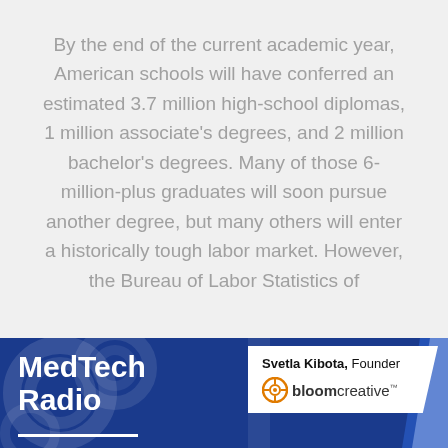By the end of the current academic year, American schools will have conferred an estimated 3.7 million high-school diplomas, 1 million associate's degrees, and 2 million bachelor's degrees. Many of those 6-million-plus graduates will soon pursue another degree, but many others will enter a historically tough labor market. However, the Bureau of Labor Statistics of
[Figure (other): MedTech Radio podcast banner with blue background, decorative circular graphics, show title 'MedTech Radio' in white bold text, white underline, and an info box with 'Svetla Kibota, Founder' and Bloom Creative logo.]